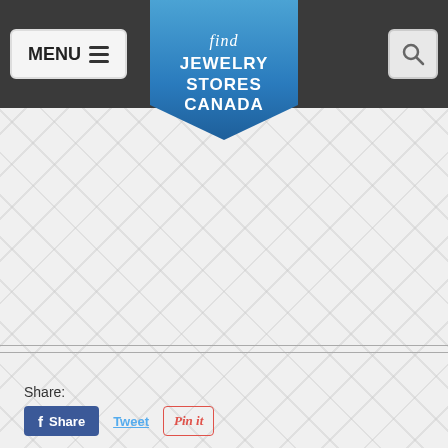[Figure (screenshot): Website header with dark navigation bar containing MENU button on left, Find Jewelry Stores Canada badge/logo in center, and search icon on right. Below is a light diamond-pattern background with two horizontal separator lines near bottom and social sharing buttons (Share label, Facebook Share, Tweet, Pin it) at the bottom left.]
Share:
Share
Tweet
Pin it